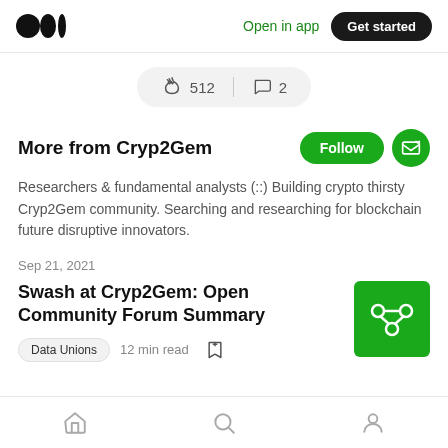Medium logo | Open in app | Get started
[Figure (infographic): Clap icon with count 512 and comment icon with count 2 in a pill-shaped container]
More from Cryp2Gem
Researchers & fundamental analysts (::) Building crypto thirsty Cryp2Gem community. Searching and researching for blockchain future disruptive innovators.
Sep 21, 2021
Swash at Cryp2Gem: Open Community Forum Summary
Data Unions   12 min read
Home | Search | Profile